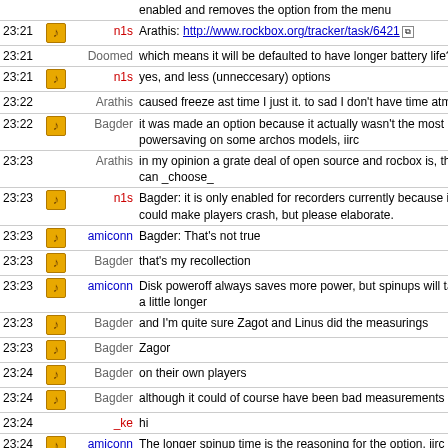| Time | Icon | Nick | Message |
| --- | --- | --- | --- |
|  |  |  | enabled and removes the option from the menu |
| 23:21 | icon | n1s | Arathis: http://www.rockbox.org/tracker/task/6421 |
| 23:21 |  | Doomed | which means it will be defaulted to have longer battery life? |
| 23:21 | icon | n1s | yes, and less (unneccesary) options |
| 23:22 |  | Arathis | caused freeze ast time I just it. to sad I don't have time atm :/ |
| 23:22 | icon | Bagder | it was made an option because it actually wasn't the most powersaving on some archos models, iirc |
| 23:23 |  | Arathis | in my opinion a grate deal of open source and rocbox is, that can _choose_ |
| 23:23 | icon | n1s | Bagder: it is only enabled for recorders currently because it could make players crash, but please elaborate. |
| 23:23 | icon | amiconn | Bagder: That's not true |
| 23:23 | icon | Bagder | that's my recollection |
| 23:23 | icon | amiconn | Disk poweroff always saves more power, but spinups will take a little longer |
| 23:23 | icon | Bagder | and I'm quite sure Zagot and Linus did the measurings |
| 23:23 | icon | Bagder | Zagor |
| 23:24 | icon | Bagder | on their own players |
| 23:24 | icon | Bagder | although it could of course have been bad measurements |
| 23:24 |  | _ke | hi |
| 23:24 | icon | amiconn | The longer spinup time is the reasoning for the option, iirc |
| 23:25 | icon | amiconn | But the option should default to on for all targets imho |
| 23:25 | icon | amiconn | n1s: For player, HAVE_ATA_POWEROFF isn't defined in c... you don't need to take special care |
| 23:26 |  | ke | how can i delete my old database and create a new one? b... |